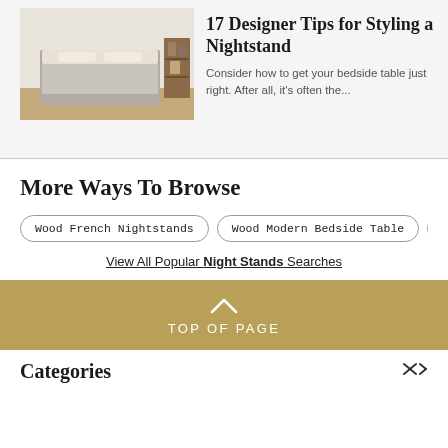[Figure (photo): Bedroom scene with a nightstand/bedside shelf unit next to a bed with grey/beige bedding]
17 Designer Tips for Styling a Nightstand
Consider how to get your bedside table just right. After all, it's often the...
More Ways To Browse
Wood French Nightstands
Wood Modern Bedside Table
View All Popular Night Stands Searches
TOP OF PAGE
Categories